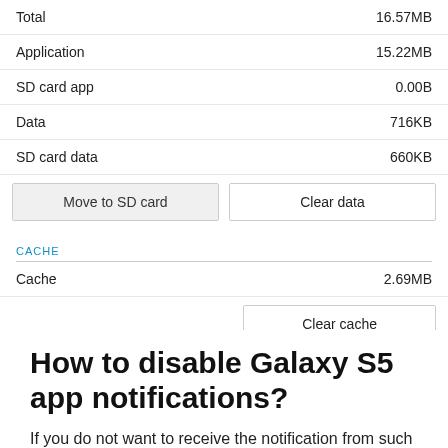[Figure (screenshot): Android app storage info screen showing Total 16.57MB, Application 15.22MB, SD card app 0.00B, Data 716KB, SD card data 660KB with Move to SD card and Clear data buttons, followed by Cache section showing 2.69MB and Clear cache button]
How to disable Galaxy S5 app notifications?
If you do not want to receive the notification from such an app, in the app info page, you can uncheck the "show notifications". This will immediately